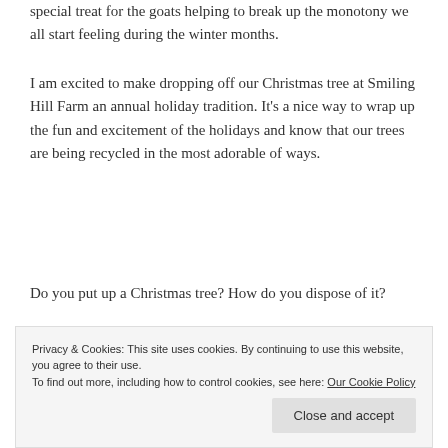special treat for the goats helping to break up the monotony we all start feeling during the winter months.
I am excited to make dropping off our Christmas tree at Smiling Hill Farm an annual holiday tradition. It’s a nice way to wrap up the fun and excitement of the holidays and know that our trees are being recycled in the most adorable of ways.
Do you put up a Christmas tree? How do you dispose of it?
[Figure (photo): Two side-by-side outdoor photos in winter showing fenced farm areas with snow, metal gates and structures visible.]
Privacy & Cookies: This site uses cookies. By continuing to use this website, you agree to their use.
To find out more, including how to control cookies, see here: Our Cookie Policy